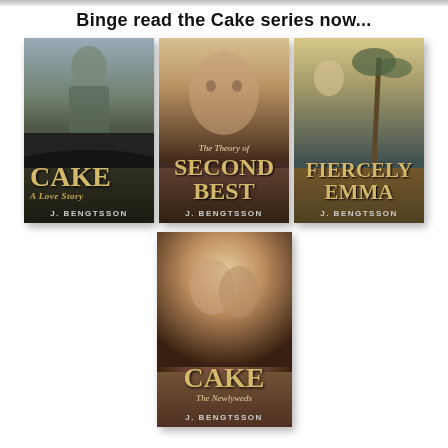Binge read the Cake series now...
[Figure (illustration): Book cover: CAKE A Love Story by J. Bengtsson — man with guitar, crowd below, golden serif title]
[Figure (illustration): Book cover: The Theory of SECOND BEST by J. Bengtsson — Cake Series Book Two, close-up of man's face]
[Figure (illustration): Book cover: FIERCELY EMMA by J. Bengtsson — Cake Series Book Three, woman near palm trees]
[Figure (illustration): Book cover: CAKE The Newlyweds by J. Bengtsson — Cake Series Book Four, couple kissing]